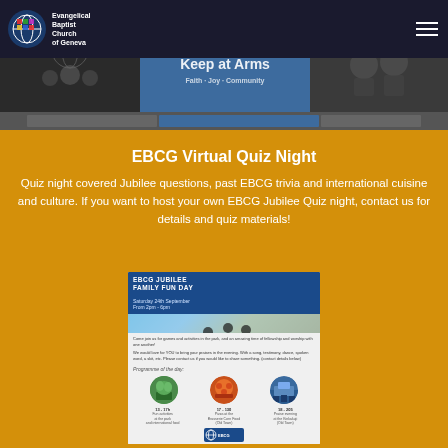[Figure (logo): Evangelical Baptist Church of Geneva logo with globe icon]
[Figure (photo): Hero banner with three panel image: left panel dark with people silhouettes, center panel blue with KEEP AT ARMS text overlay, right panel dark with figures]
EBCG Virtual Quiz Night
Quiz night covered Jubilee questions, past EBCG trivia and international cuisine and culture. If you want to host your own EBCG Jubilee Quiz night, contact us for details and quiz materials!
[Figure (photo): EBCG Jubilee Family Fun Day flyer showing event details, programme of the day with three circular images (green park, pizza, landscape), times and description text, with EBCG logo at bottom]